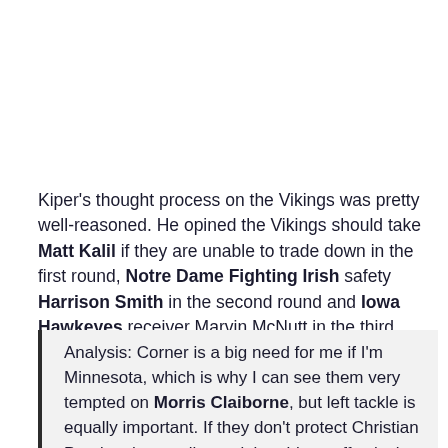Kiper's thought process on the Vikings was pretty well-reasoned. He opined the Vikings should take Matt Kalil if they are unable to trade down in the first round, Notre Dame Fighting Irish safety Harrison Smith in the second round and Iowa Hawkeyes receiver Marvin McNutt in the third round for the reasons included below.
Analysis: Corner is a big need for me if I'm Minnesota, which is why I can see them very tempted on Morris Claiborne, but left tackle is equally important. If they don't protect Christian Ponder, they really won't be able to effectively audit...